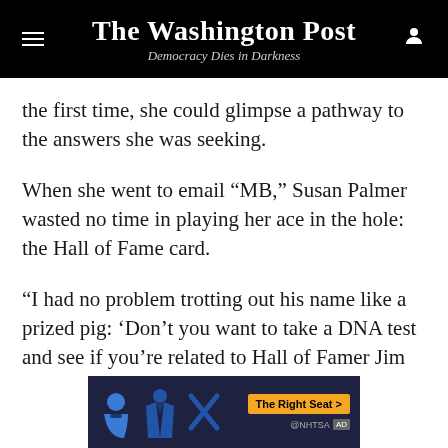The Washington Post — Democracy Dies in Darkness
the first time, she could glimpse a pathway to the answers she was seeking.
When she went to email “MB,” Susan Palmer wasted no time in playing her ace in the hole: the Hall of Fame card.
“I had no problem trotting out his name like a prized pig: ‘Don’t you want to take a DNA test and see if you’re related to Hall of Famer Jim Palmer?’ ” she says. “I emailed this ‘MB,’ and I said, ‘My husband is Jim Palmer. He’s a Hall of Fame baseball player. I have a
[Figure (other): Advertisement banner for NHTSA 'The Right Seat' campaign featuring car seat safety icons]